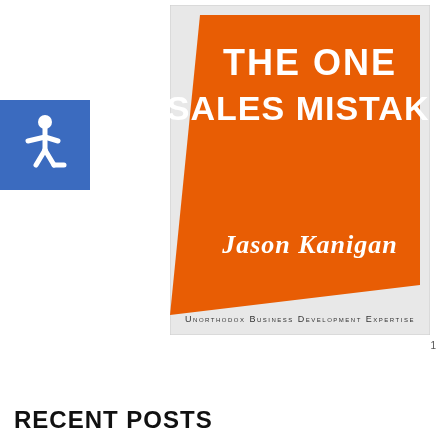[Figure (illustration): Book cover for 'The One Sales Mistake' by Jason Kanigan. Orange rectangle dominates the cover with white bold text 'THE ONE SALES MISTAKE' at the top and 'JASON KANIGAN' at the bottom. Subtitle reads 'UNORTHODOX BUSINESS DEVELOPMENT EXPERTISE' at the bottom in small caps on a white background.]
[Figure (logo): Accessibility icon - white wheelchair symbol on blue square background, positioned top-left.]
RECENT POSTS